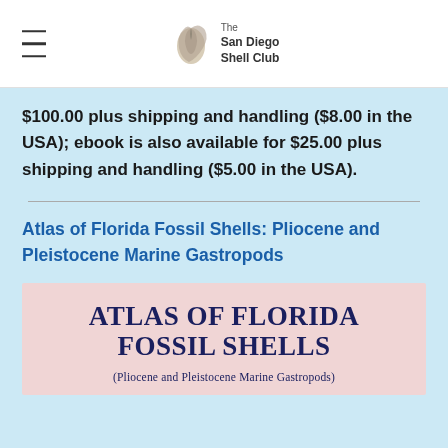The San Diego Shell Club
$100.00 plus shipping and handling ($8.00 in the USA); ebook is also available for $25.00 plus shipping and handling ($5.00 in the USA).
Atlas of Florida Fossil Shells: Pliocene and Pleistocene Marine Gastropods
[Figure (illustration): Book cover image for 'Atlas of Florida Fossil Shells' showing pink/mauve background with large dark navy title text 'ATLAS OF FLORIDA FOSSIL SHELLS' and subtitle '(Pliocene and Pleistocene Marine Gastropods)']